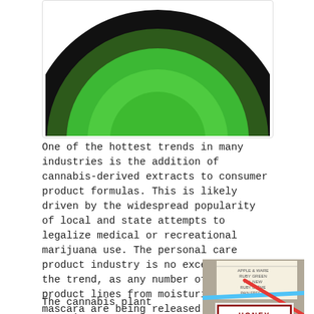[Figure (illustration): Cannabis-themed circular illustration: concentric circles in black and green on white background, showing a large black outer ring, dark green ring, bright green inner ring, and bright green center circle]
One of the hottest trends in many industries is the addition of cannabis-derived extracts to consumer product formulas. This is likely driven by the widespread popularity of local and state attempts to legalize medical or recreational marijuana use. The personal care product industry is no exception to the trend, as any number of new product lines from moisturizers to mascara are being released with cannabis extracts in their formulations. Cannabidiol (CBD) is turning up in all types of consumer food and drink products, from honey to craft beers.
[Figure (photo): Photo of a storefront showing a sign for Honey Medical Grade CBD Infused Honey and Salve, with a green cross symbol on white background framed in red border, with other shop elements visible]
The cannabis plant contains over 113 known cannabinoids, or naturally-occurring compounds that interact with receptors in the human body,